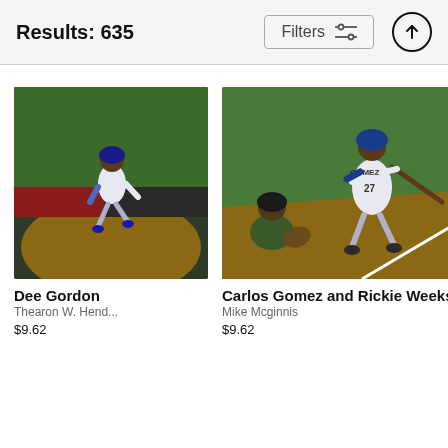Results: 635
Filters
[Figure (photo): Baseball player Dee Gordon in Los Angeles Dodgers uniform running on field at night]
Dee Gordon
Thearon W. Hend...
$9.62
[Figure (photo): Carlos Gomez #27 in Chicago Cubs pinstripe uniform batting, with catcher crouching behind, ball visible in air]
Carlos Gomez and Rickie Weeks
Mike Mcginnis
$9.62